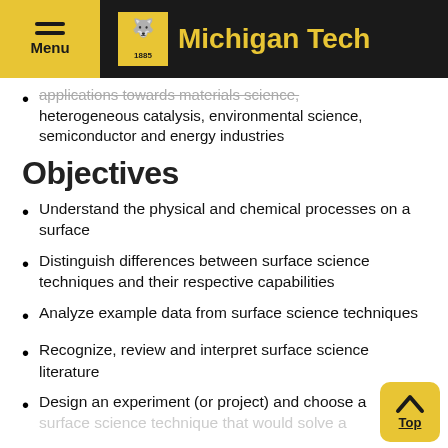Michigan Tech
applications towards materials science, heterogeneous catalysis, environmental science, semiconductor and energy industries
Objectives
Understand the physical and chemical processes on a surface
Distinguish differences between surface science techniques and their respective capabilities
Analyze example data from surface science techniques
Recognize, review and interpret surface science literature
Design an experiment (or project) and choose a surface science technique that would solve a